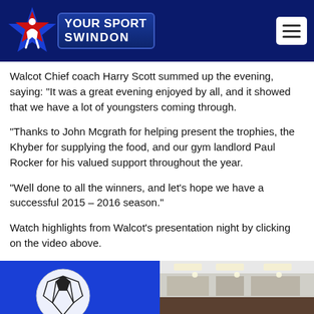Your Sport Swindon
Walcot Chief coach Harry Scott summed up the evening, saying: “It was a great evening enjoyed by all, and it showed that we have a lot of youngsters coming through.
“Thanks to John Mcgrath for helping present the trophies, the Khyber for supplying the food, and our gym landlord Paul Rocker for his valued support throughout the year.
“Well done to all the winners, and let’s hope we have a successful 2015 – 2016 season.”
Watch highlights from Walcot’s presentation night by clicking on the video above.
[Figure (photo): Blue background with white soccer ball icon on left]
[Figure (photo): Interior room photo showing ceiling lights and counter area on right]